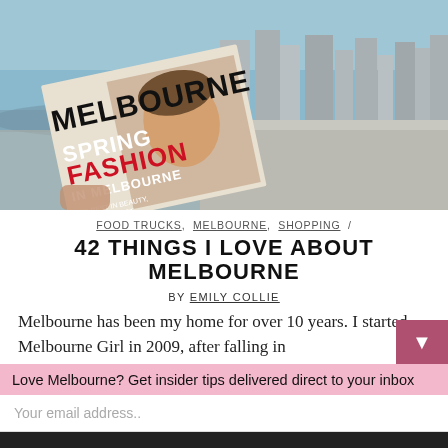[Figure (photo): Aerial photo of Melbourne city with a person holding a Melbourne Spring Fashion magazine in the foreground]
FOOD TRUCKS, MELBOURNE, SHOPPING /
42 THINGS I LOVE ABOUT MELBOURNE
BY EMILY COLLIE
Melbourne has been my home for over 10 years. I started Melbourne Girl in 2009, after falling in
Love Melbourne? Get insider tips delivered direct to your inbox
Your email address..
SUBSCRIBE